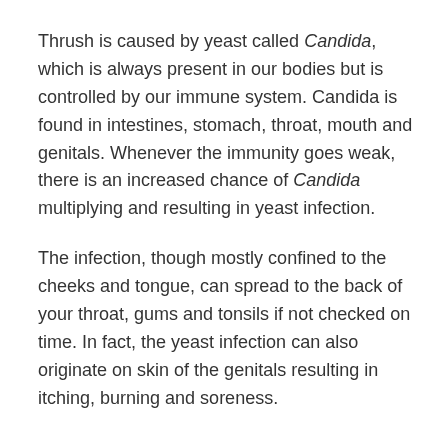Thrush is caused by yeast called Candida, which is always present in our bodies but is controlled by our immune system. Candida is found in intestines, stomach, throat, mouth and genitals. Whenever the immunity goes weak, there is an increased chance of Candida multiplying and resulting in yeast infection.
The infection, though mostly confined to the cheeks and tongue, can spread to the back of your throat, gums and tonsils if not checked on time. In fact, the yeast infection can also originate on skin of the genitals resulting in itching, burning and soreness.